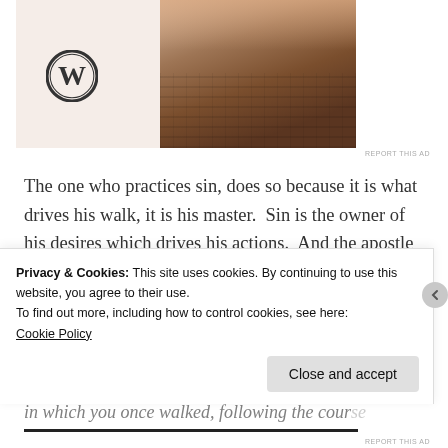[Figure (photo): WordPress advertisement image showing WordPress logo on left and hands typing on a laptop on beige/cream background]
The one who practices sin, does so because it is what drives his walk, it is his master.  Sin is the owner of his desires which drives his actions.  And the apostle Paul emphasizes this in his writings; for example, in one of my favorite passages:
And you were dead in the trespasses and sins
in which you once walked, following the course...
Privacy & Cookies: This site uses cookies. By continuing to use this website, you agree to their use.
To find out more, including how to control cookies, see here:
Cookie Policy
Close and accept